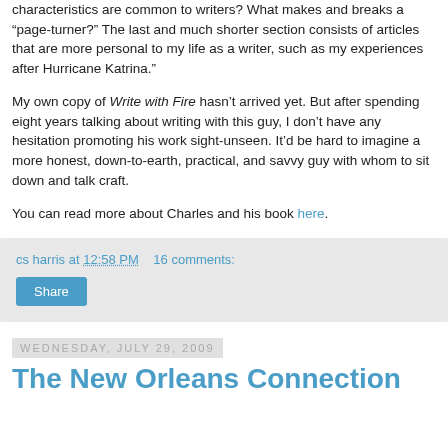characteristics are common to writers? What makes and breaks a “page-turner?” The last and much shorter section consists of articles that are more personal to my life as a writer, such as my experiences after Hurricane Katrina.”
My own copy of Write with Fire hasn’t arrived yet. But after spending eight years talking about writing with this guy, I don’t have any hesitation promoting his work sight-unseen. It’d be hard to imagine a more honest, down-to-earth, practical, and savvy guy with whom to sit down and talk craft.
You can read more about Charles and his book here.
cs harris at 12:58 PM   16 comments:
Share
Wednesday, July 29, 2009
The New Orleans Connection